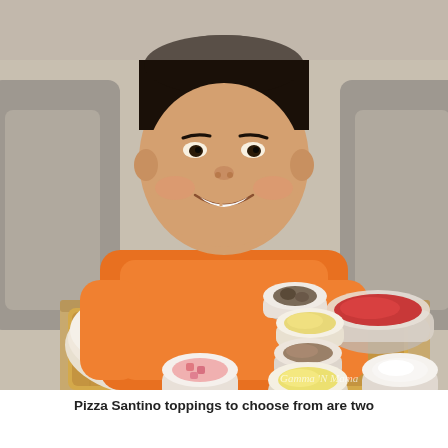[Figure (photo): A smiling young Asian boy wearing an orange t-shirt sits behind a wooden board filled with pizza-making ingredients in small white ceramic bowls and glass bowls: mushrooms, shredded cheese, ground meat, tomato sauce, diced ham/bacon, more cheese, and a white sauce. The setting appears to be a restaurant with gray upholstered chairs visible in the background. A watermark reads 'Gamma N Mama' in the bottom right corner.]
Pizza Santino toppings to choose from are two